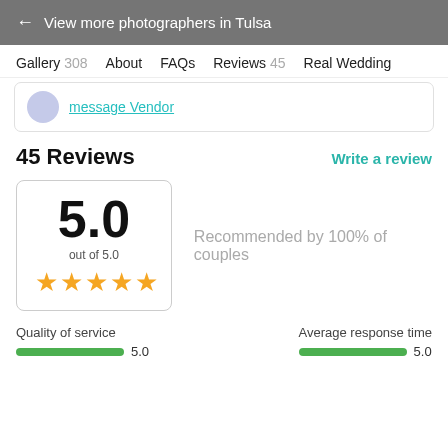← View more photographers in Tulsa
Gallery 308   About   FAQs   Reviews 45   Real Wedding
message Vendor
45 Reviews
Write a review
5.0
out of 5.0
★★★★★
Recommended by 100% of couples
Quality of service
5.0
Average response time
5.0